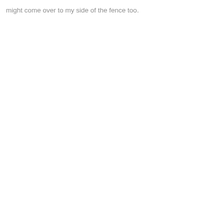might come over to my side of the fence too.